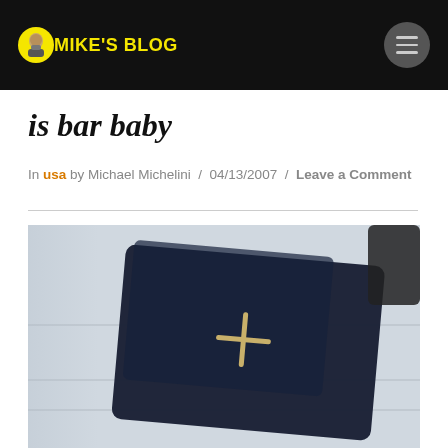MIKE'S BLOG
is bar baby
In usa by Michael Michelini / 04/13/2007 / Leave a Comment
[Figure (photo): Dark navy leather wallet with a gold cross/plus symbol on a light gray wooden surface, with dark object partially visible in upper right corner]